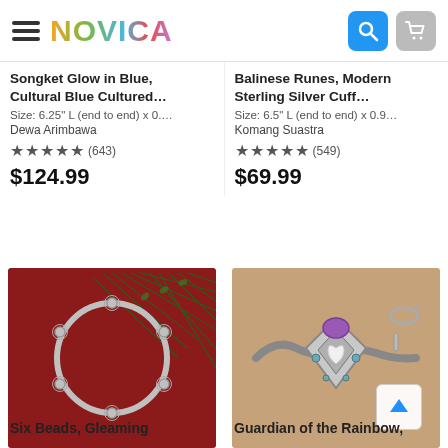NOVICA
Songket Glow in Blue, Cultural Blue Cultured…
Size: 6.25" L (end to end) x 0....
Dewa Arimbawa
★★★★★ (643)
$124.99
Balinese Runes, Modern Sterling Silver Cuff…
Size: 6.5" L (end to end) x 0.9...
Komang Suastra
★★★★★ (549)
$69.99
[Figure (photo): Silver bangle bracelet with beads on dark red background with pine branch]
[Figure (photo): Silver bracelet with amethyst and heart motif on wooden background]
Six Beads, Gleaming
Guardian of the Rainbow,